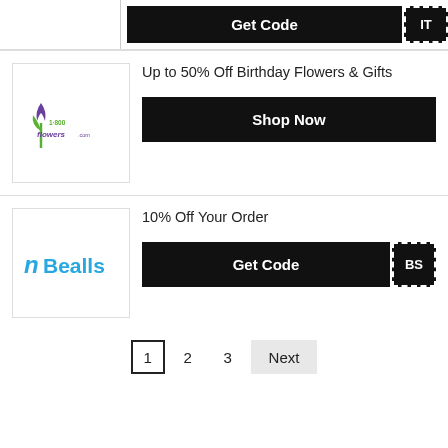[Figure (logo): Partial coupon row at top with Get Code button and dashed IT tag]
[Figure (logo): 1-800-Flowers.com logo]
Up to 50% Off Birthday Flowers & Gifts
Shop Now
[Figure (logo): Bealls logo with swoosh icon]
10% Off Your Order
Get Code  BS
1  2  3  Next